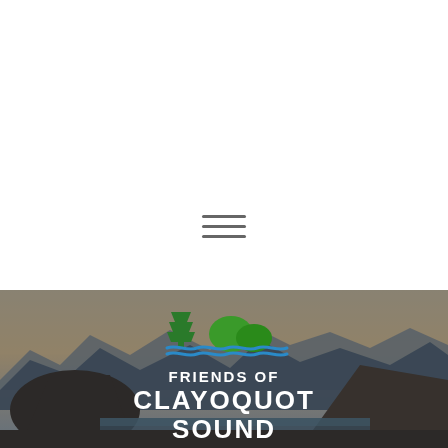[Figure (logo): Hamburger menu icon (three horizontal lines) centered on white background upper portion of page]
[Figure (photo): Aerial landscape photo of Clayoquot Sound mountains and water at dusk/dawn, with the Friends of Clayoquot Sound logo (green tree and mountains with blue waves) and organization name overlaid in white text]